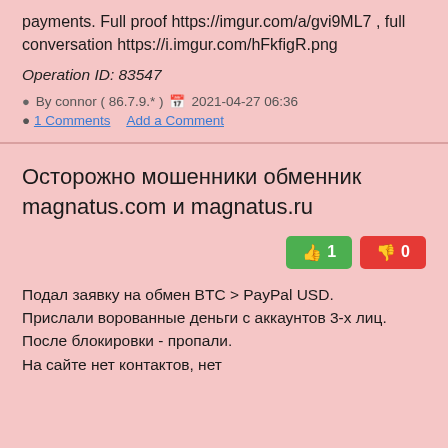payments. Full proof https://imgur.com/a/gvi9ML7 , full conversation https://i.imgur.com/hFkfigR.png
Operation ID: 83547
By connor ( 86.7.9.* )  2021-04-27 06:36
1 Comments  Add a Comment
Осторожно мошенники обменник magnatus.com и magnatus.ru
Подал заявку на обмен BTC > PayPal USD.
Прислали ворованные деньги с аккаунтов 3-х лиц. После блокировки - пропали.
На сайте нет контактов, нет